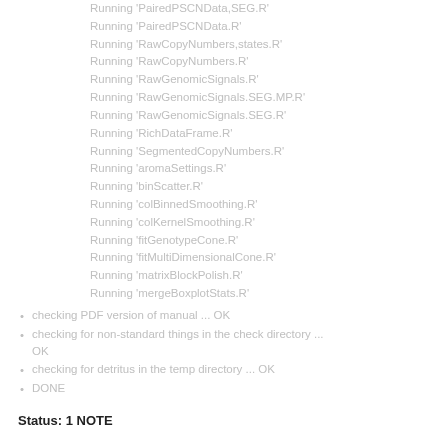Running 'PairedPSCNData,SEG.R'
Running 'PairedPSCNData.R'
Running 'RawCopyNumbers,states.R'
Running 'RawCopyNumbers.R'
Running 'RawGenomicSignals.R'
Running 'RawGenomicSignals.SEG.MP.R'
Running 'RawGenomicSignals.SEG.R'
Running 'RichDataFrame.R'
Running 'SegmentedCopyNumbers.R'
Running 'aromaSettings.R'
Running 'binScatter.R'
Running 'colBinnedSmoothing.R'
Running 'colKernelSmoothing.R'
Running 'fitGenotypeCone.R'
Running 'fitMultiDimensionalCone.R'
Running 'matrixBlockPolish.R'
Running 'mergeBoxplotStats.R'
checking PDF version of manual ... OK
checking for non-standard things in the check directory ... OK
checking for detritus in the temp directory ... OK
DONE
Status: 1 NOTE